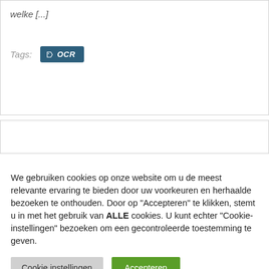welke [...]
Tags: OCR
[Figure (screenshot): Search input bar with dark blue search button]
We gebruiken cookies op onze website om u de meest relevante ervaring te bieden door uw voorkeuren en herhaalde bezoeken te onthouden. Door op "Accepteren" te klikken, stemt u in met het gebruik van ALLE cookies. U kunt echter "Cookie-instellingen" bezoeken om een gecontroleerde toestemming te geven.
Cookie instellingen   Accepteren